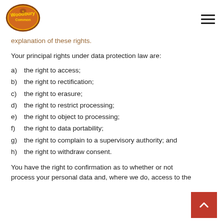Woodbury Common (logo) | Hamburger menu
explanation of these rights.
Your principal rights under data protection law are:
a)  the right to access;
b)  the right to rectification;
c)  the right to erasure;
d)  the right to restrict processing;
e)  the right to object to processing;
f)  the right to data portability;
g)  the right to complain to a supervisory authority; and
h)  the right to withdraw consent.
You have the right to confirmation as to whether or not process your personal data and, where we do, access to the